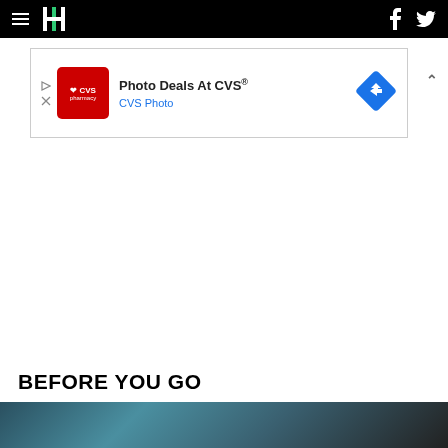HuffPost navigation with hamburger menu, logo, Facebook and Twitter icons
[Figure (screenshot): CVS Pharmacy advertisement banner: Photo Deals At CVS® - CVS Photo, with CVS Pharmacy logo and blue diamond direction icon]
BEFORE YOU GO
[Figure (photo): Partial bottom image strip, dark teal/blue tones, appears to be a person or scene photo cropped at bottom of page]